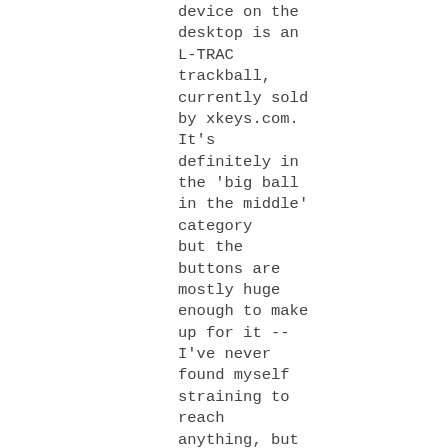device on the desktop is an L-TRAC trackball, currently sold by xkeys.com. It's definitely in the 'big ball in the middle' category but the buttons are mostly huge enough to make up for it -- I've never found myself straining to reach anything, but I will admit the extension ports allowing more buttons to be scattered around the desktop is a nice